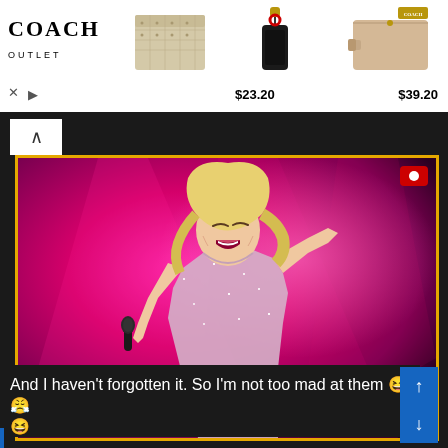[Figure (screenshot): Coach Outlet advertisement banner showing logo, a wallet, a keychain priced $23.20, and a wristlet priced $39.20. Below is a social media interface with a concert video of a blonde female singer performing on a magenta-lit stage, labeled '07 Moldova #MDA'. Below the video is a comment: 'And I haven't forgotten it. So I'm not too mad at them [laughing emoji] [emoji] [laughing emoji]']